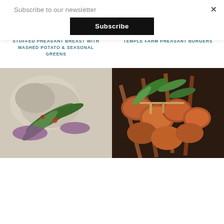Subscribe to our newsletter
Subscribe
×
[Figure (photo): Partial top view of a plated dish with mashed potato, stuffed pheasant breast and seasonal greens on white plate]
STUFFED PHEASANT BREAST WITH MASHED POTATO & SEASONAL GREENS
[Figure (photo): Partial top view of a Temple Farm pheasant burger on a board]
TEMPLE FARM PHEASANT BURGERS
[Figure (photo): Close-up of a wild mushroom salad with red onion, green leaves and chilli]
[Figure (photo): Close-up of glazed pheasant skewers on wooden board garnished with fresh herbs]